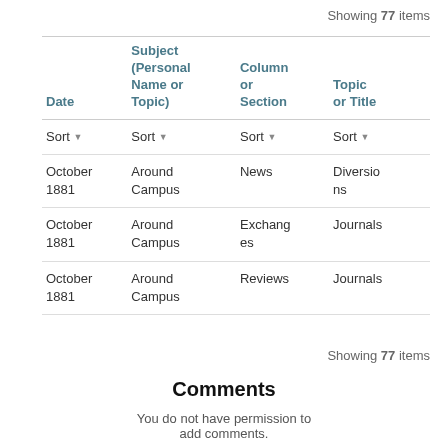Showing 77 items
| Date | Subject (Personal Name or Topic) | Column or Section | Topic or Title |
| --- | --- | --- | --- |
| October 1881 | Around Campus | News | Diversions |
| October 1881 | Around Campus | Exchanges | Journals |
| October 1881 | Around Campus | Reviews | Journals |
Showing 77 items
Comments
You do not have permission to add comments.